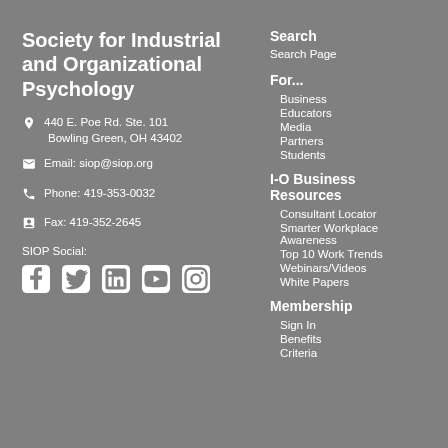Society for Industrial and Organizational Psychology
440 E. Poe Rd. Ste. 101 Bowling Green, OH 43402
Email: siop@siop.org
Phone: 419-353-0032
Fax: 419-352-2645
SIOP Social:
[Figure (other): Social media icons: Facebook, Twitter, LinkedIn, YouTube, Instagram]
Search
Search Page
For...
Business
Educators
Media
Partners
Students
I-O Business Resources
Consultant Locator
Smarter Workplace Awareness
Top 10 Work Trends
Webinars/Videos
White Papers
Membership
Sign In
Benefits
Criteria